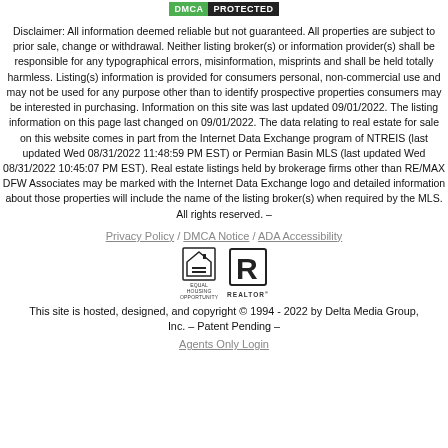[Figure (logo): DMCA Protected badge with green DMCA label and dark PROTECTED label]
Disclaimer: All information deemed reliable but not guaranteed. All properties are subject to prior sale, change or withdrawal. Neither listing broker(s) or information provider(s) shall be responsible for any typographical errors, misinformation, misprints and shall be held totally harmless. Listing(s) information is provided for consumers personal, non-commercial use and may not be used for any purpose other than to identify prospective properties consumers may be interested in purchasing. Information on this site was last updated 09/01/2022. The listing information on this page last changed on 09/01/2022. The data relating to real estate for sale on this website comes in part from the Internet Data Exchange program of NTREIS (last updated Wed 08/31/2022 11:48:59 PM EST) or Permian Basin MLS (last updated Wed 08/31/2022 10:45:07 PM EST). Real estate listings held by brokerage firms other than RE/MAX DFW Associates may be marked with the Internet Data Exchange logo and detailed information about those properties will include the name of the listing broker(s) when required by the MLS. All rights reserved. –
Privacy Policy / DMCA Notice / ADA Accessibility
[Figure (logo): Equal Housing Opportunity logo and Realtor logo]
This site is hosted, designed, and copyright © 1994 - 2022 by Delta Media Group, Inc. – Patent Pending –
Agents Only Login